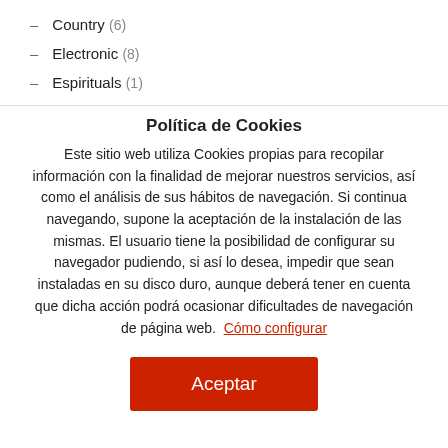– Country (6)
– Electronic (8)
– Espirituals (1)
Política de Cookies
Este sitio web utiliza Cookies propias para recopilar información con la finalidad de mejorar nuestros servicios, así como el análisis de sus hábitos de navegación. Si continua navegando, supone la aceptación de la instalación de las mismas. El usuario tiene la posibilidad de configurar su navegador pudiendo, si así lo desea, impedir que sean instaladas en su disco duro, aunque deberá tener en cuenta que dicha acción podrá ocasionar dificultades de navegación de página web.  Cómo configurar
Aceptar